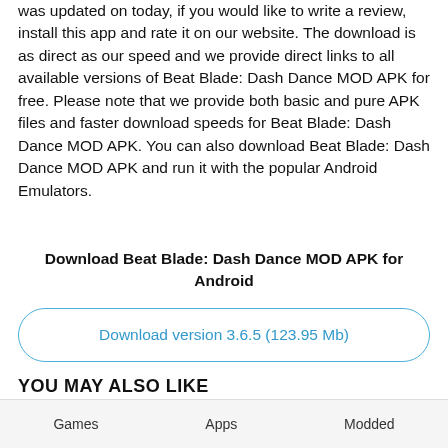was updated on today, if you would like to write a review, install this app and rate it on our website. The download is as direct as our speed and we provide direct links to all available versions of Beat Blade: Dash Dance MOD APK for free. Please note that we provide both basic and pure APK files and faster download speeds for Beat Blade: Dash Dance MOD APK. You can also download Beat Blade: Dash Dance MOD APK and run it with the popular Android Emulators.
Download Beat Blade: Dash Dance MOD APK for Android
Download version 3.6.5 (123.95 Mb)
YOU MAY ALSO LIKE
Games   Apps   Modded